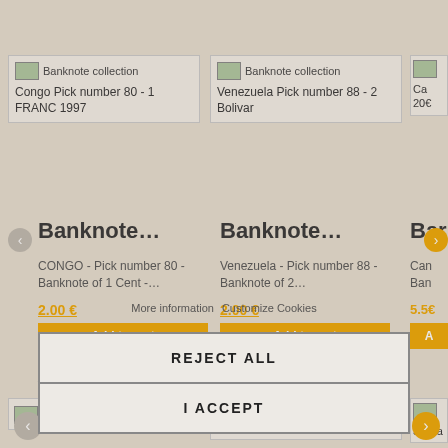[Figure (screenshot): E-commerce website screenshot showing banknote collection products with cookie consent dialog overlay. Products include Congo Pick number 80 - 1 FRANC 1997, Venezuela Pick number 88 - 2 Bolivar, and accessories. A modal dialog with REJECT ALL and I ACCEPT buttons appears over the page.]